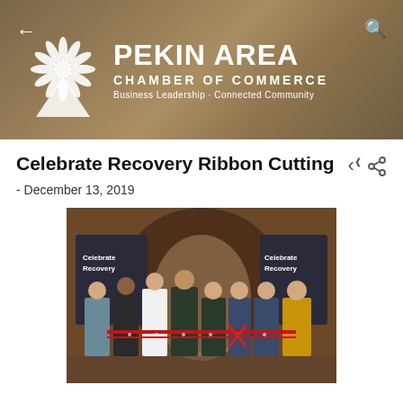[Figure (photo): Pekin Area Chamber of Commerce header banner with logo (stylized flower/sun graphic), organization name, and tagline 'Business Leadership · Connected Community'. Back arrow on left, search icon on right.]
Celebrate Recovery Ribbon Cutting
- December 13, 2019
[Figure (photo): Group photo of approximately 8 people standing indoors holding a red ribbon for a ribbon cutting ceremony. Celebrate Recovery banners visible in the background.]
Pekin's newest Celebrate Recovery opened their doors to serve our community on August 15th at North Parkway